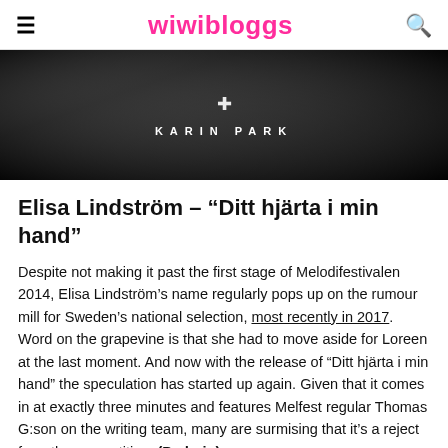wiwibloggs
[Figure (photo): Black and white photo of a person in dark clothing with a cross symbol and the text KARIN PARK below it]
Elisa Lindström – “Ditt hjärta i min hand”
Despite not making it past the first stage of Melodifestivalen 2014, Elisa Lindström’s name regularly pops up on the rumour mill for Sweden’s national selection, most recently in 2017. Word on the grapevine is that she had to move aside for Loreen at the last moment. And now with the release of “Ditt hjärta i min hand” the speculation has started up again. Given that it comes in at exactly three minutes and features Melfest regular Thomas G:son on the writing team, many are surmising that it’s a reject from the competition. (Padraig)